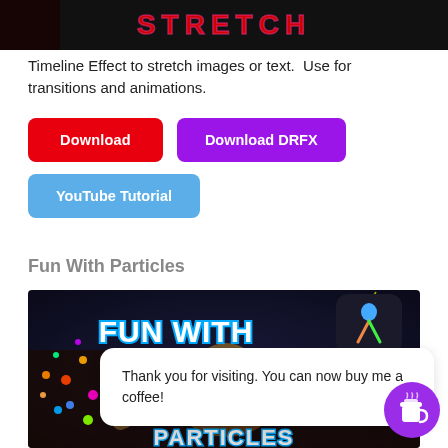[Figure (screenshot): Top portion of a dark video thumbnail with neon text partially visible]
Timeline Effect to stretch images or text.  Use for transitions and animations.
[Figure (screenshot): Three buttons: red Download button, purple Download DRFX button, blue YouTube Tutorial button]
Fun With Particles
[Figure (screenshot): Video thumbnail showing 'FUN WITH' in cyan outlined bold text with particle effects and a person, DaVinci Resolve logo in top right, with a white tooltip dialog overlay saying 'Thank you for visiting. You can now buy me a coffee!' and a purple coffee cup button]
Thank you for visiting. You can now buy me a coffee!